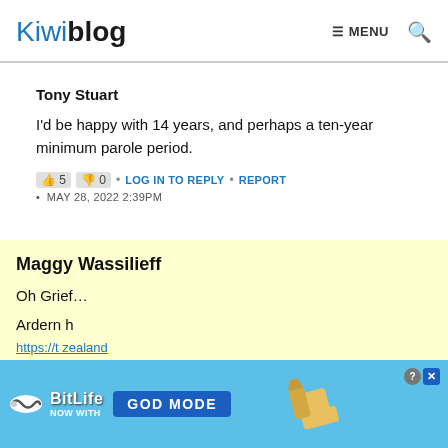Kiwiblog  ☰ MENU  🔍
Tony Stuart
I'd be happy with 14 years, and perhaps a ten-year minimum parole period.
👍 5  👎 0  •  LOG IN TO REPLY  •  REPORT  •  MAY 28, 2022 2:39PM
Maggy Wassilieff
Oh Grief…
Ardern h[as...]
https://...zealand
[Figure (screenshot): BitLife advertisement banner: 'NOW WITH GOD MODE' on a blue background with a pointing hand graphic]